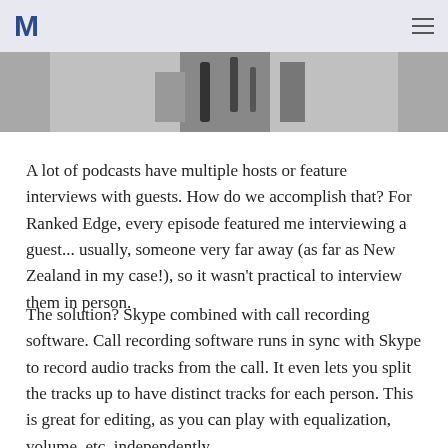M
[Figure (photo): Grayscale partial photo of a person, cropped showing upper body or microphone area]
A lot of podcasts have multiple hosts or feature interviews with guests. How do we accomplish that? For Ranked Edge, every episode featured me interviewing a guest... usually, someone very far away (as far as New Zealand in my case!), so it wasn't practical to interview them in person.
The solution? Skype combined with call recording software. Call recording software runs in sync with Skype to record audio tracks from the call. It even lets you split the tracks up to have distinct tracks for each person. This is great for editing, as you can play with equalization, volume, etc. independently